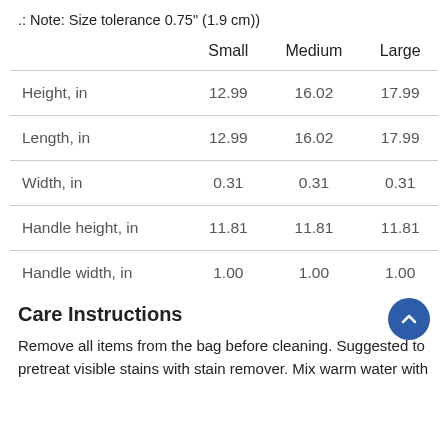.: Note: Size tolerance 0.75" (1.9 cm))
|  | Small | Medium | Large |
| --- | --- | --- | --- |
| Height, in | 12.99 | 16.02 | 17.99 |
| Length, in | 12.99 | 16.02 | 17.99 |
| Width, in | 0.31 | 0.31 | 0.31 |
| Handle height, in | 11.81 | 11.81 | 11.81 |
| Handle width, in | 1.00 | 1.00 | 1.00 |
Care Instructions
Remove all items from the bag before cleaning. Suggested to pretreat visible stains with stain remover. Mix warm water with